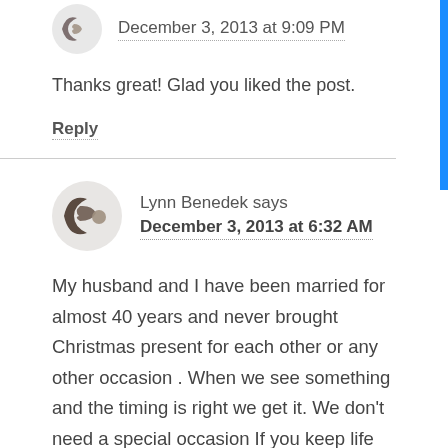December 3, 2013 at 9:09 PM
Thanks great! Glad you liked the post.
Reply
Lynn Benedek says
December 3, 2013 at 6:32 AM
My husband and I have been married for almost 40 years and never brought Christmas present for each other or any other occasion . When we see something and the timing is right we get it. We don’t need a special occasion If you keep life simple and have less expectations you will never